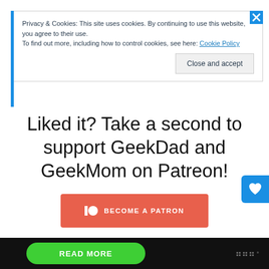Privacy & Cookies: This site uses cookies. By continuing to use this website, you agree to their use.
To find out more, including how to control cookies, see here: Cookie Policy
Close and accept
Liked it? Take a second to support GeekDad and GeekMom on Patreon!
[Figure (other): Patreon 'Become a Patron' button in orange-red color]
Share this:
Facebook   Twitter   Pinterest   Tumblr   Link
Reddit   More
READ MORE